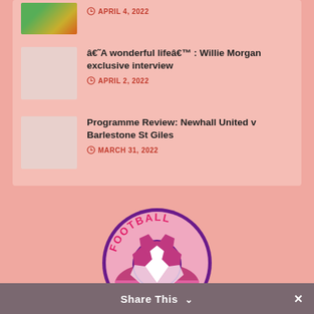[Figure (photo): Partial colorful thumbnail image at top, partially cropped]
APRIL 4, 2022
â€˜A wonderful lifeâ€™ : Willie Morgan exclusive interview
APRIL 2, 2022
[Figure (photo): Light pinkish-gray thumbnail placeholder for Willie Morgan article]
Programme Review: Newhall United v Barlestone St Giles
MARCH 31, 2022
[Figure (photo): Light pinkish-gray thumbnail placeholder for Programme Review article]
[Figure (logo): Football pink and purple circular logo with soccer ball and text FOOTBALL arched around it]
Share This